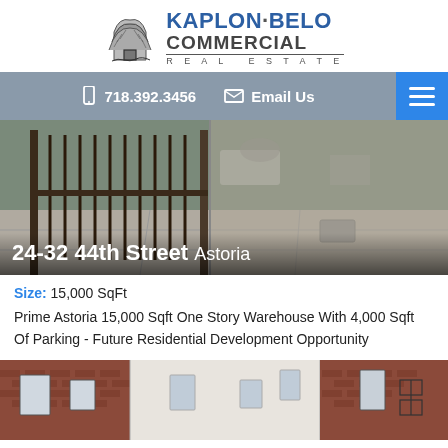[Figure (logo): Kaplon-Belo Commercial Real Estate logo with tree illustration and company name]
📱 718.392.3456   ✉ Email Us
[Figure (photo): Street-level photo of a gated warehouse entrance at 24-32 44th Street, Astoria, with iron fence gates and sidewalk visible]
24-32 44th Street Astoria
Size: 15,000 SqFt
Prime Astoria 15,000 Sqft One Story Warehouse With 4,000 Sqft Of Parking - Future Residential Development Opportunity
[Figure (photo): Bottom strip showing building facades with brick and white painted walls, windows visible]